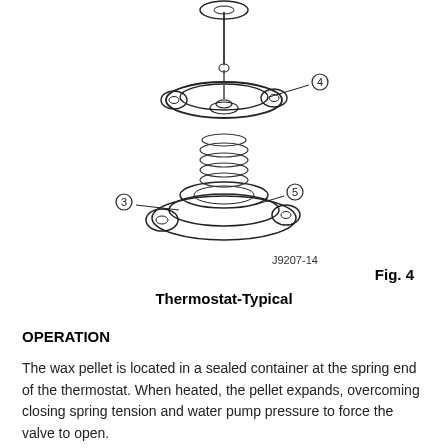[Figure (engineering-diagram): Technical line drawing of a thermostat (typical type). Shows labeled components with callout lines: item 3 (lower housing/frame), item 4 (upper valve/body assembly), item 5 (spring/seat area). Part number J9207-14 shown below the diagram.]
Fig. 4
Thermostat-Typical
OPERATION
The wax pellet is located in a sealed container at the spring end of the thermostat. When heated, the pellet expands, overcoming closing spring tension and water pump pressure to force the valve to open.